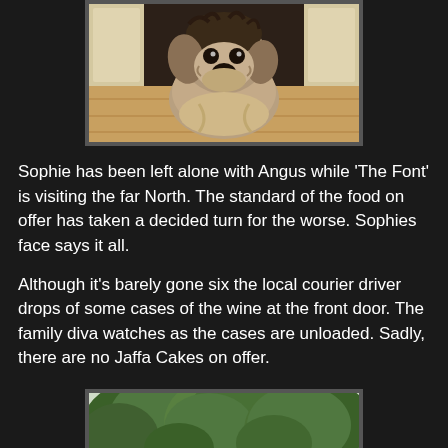[Figure (photo): Close-up photo of a scruffy, fluffy dog (Sophie) looking at camera, with light wooden floor and white cabinet in background. Dark, beige, and tan coloring.]
Sophie has been left alone with Angus while 'The Font' is visiting the far North. The standard of the food on offer has taken a decided turn for the worse. Sophies face says it all.
Although it's barely gone six the local courier driver drops of some cases of the wine at the front door. The family diva watches as the cases are unloaded. Sadly, there are no Jaffa Cakes on offer.
[Figure (photo): Outdoor garden/street scene with large leafy green trees and hedges, photographed from below looking upward. Bright daylight.]